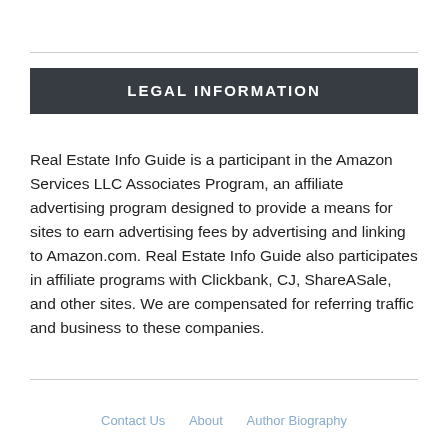LEGAL INFORMATION
Real Estate Info Guide is a participant in the Amazon Services LLC Associates Program, an affiliate advertising program designed to provide a means for sites to earn advertising fees by advertising and linking to Amazon.com. Real Estate Info Guide also participates in affiliate programs with Clickbank, CJ, ShareASale, and other sites. We are compensated for referring traffic and business to these companies.
Contact Us   About   Author Biography